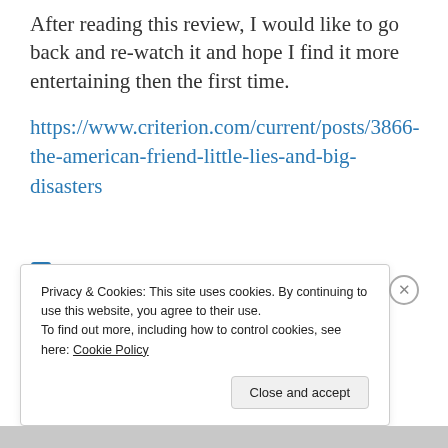After reading this review, I would like to go back and re-watch it and hope I find it more entertaining then the first time.
https://www.criterion.com/current/posts/3866-the-american-friend-little-lies-and-big-disasters
1 Comment
Privacy & Cookies: This site uses cookies. By continuing to use this website, you agree to their use.
To find out more, including how to control cookies, see here: Cookie Policy
Close and accept